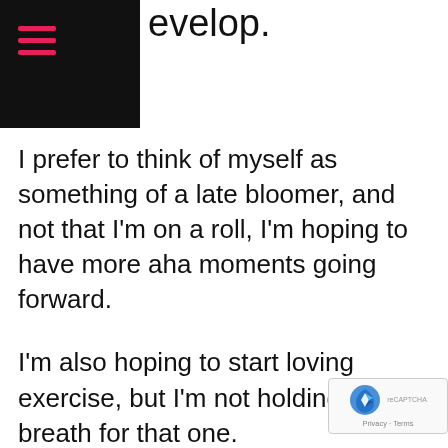evelop.
I prefer to think of myself as something of a late bloomer, and not that I'm on a roll, I'm hoping to have more aha moments going forward.
I'm also hoping to start loving exercise, but I'm not holding my breath for that one.
The reason I tell you all of this is to make the point that the reason these strategies/suggestions/tips made my list is not because I am so good at spotting them, but because they've come up over and over again.
These are the areas that trip a lot of us up w... it comes to style. And now, they're all in one...